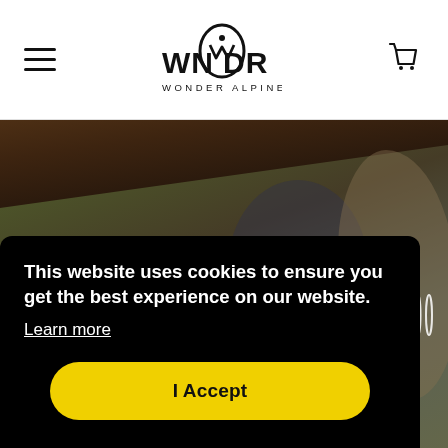[Figure (logo): Wonder Alpine (WNDR) logo with stylized bird/mountain mark and text WONDER ALPINE below]
[Figure (photo): Hero image showing two people (one in black Adidas cap) examining ski equipment with white ski/board icons overlaid; background shows dark wooden plank and outdoor scene]
This website uses cookies to ensure you get the best experience on our website.
Learn more
I Accept